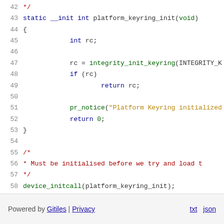[Figure (screenshot): Source code viewer showing C code lines 42-58: a platform_keyring_init function and a device_initcall, with syntax highlighting. Comments in red, keywords in dark blue, strings/numbers in green.]
Powered by Gitiles | Privacy    txt  json